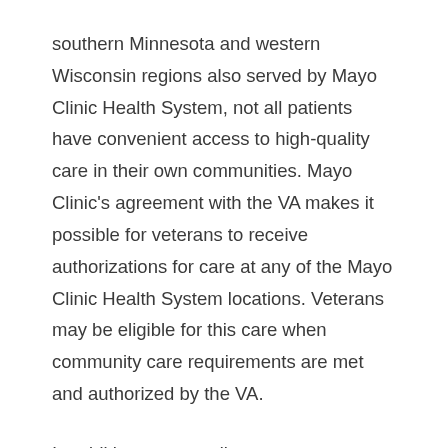southern Minnesota and western Wisconsin regions also served by Mayo Clinic Health System, not all patients have convenient access to high-quality care in their own communities. Mayo Clinic's agreement with the VA makes it possible for veterans to receive authorizations for care at any of the Mayo Clinic Health System locations. Veterans may be eligible for this care when community care requirements are met and authorized by the VA.
In addition to expanding access to community care in rural and other underserved areas of the Upper Midwest, the agreement also includes provisions to allow for specialty care at Mayo Clinic in Arizona, Mayo